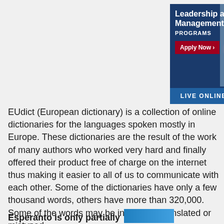[Figure (photo): Advertisement banner for Leadership and Management Programs with a photo of a man in a suit, blue background, red Apply Now button, and 'LIVE ONLINE AND ON CAMPUS' bar at the bottom]
EUdict (European dictionary) is a collection of online dictionaries for the languages spoken mostly in Europe. These dictionaries are the result of the work of many authors who worked very hard and finally offered their product free of charge on the internet thus making it easier to all of us to communicate with each other. Some of the dictionaries have only a few thousand words, others have more than 320,000. Some of the words may be incorrectly translated or mistyped.
Esperanto is only partially